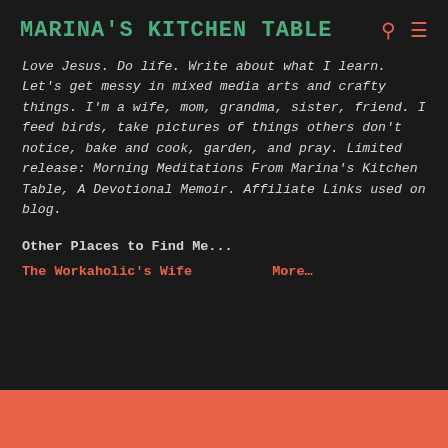MARINA'S KITCHEN TABLE
Love Jesus. Do life. Write about what I learn. Let's get messy in mixed media arts and crafty things. I'm a wife, mom, grandma, sister, friend. I feed birds, take pictures of things others don't notice, bake and cook, garden, and pray. Limited release: Morning Meditations From Marina's Kitchen Table, A Devotional Memoir. Affiliate Links used on blog.
Other Places to Find Me...
The Workaholic's Wife
More…